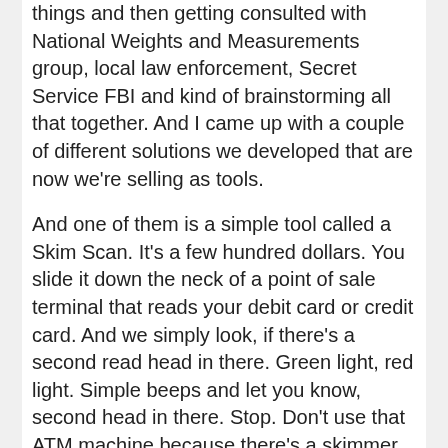things and then getting consulted with National Weights and Measurements group, local law enforcement, Secret Service FBI and kind of brainstorming all that together. And I came up with a couple of different solutions we developed that are now we're selling as tools.
And one of them is a simple tool called a Skim Scan. It's a few hundred dollars. You slide it down the neck of a point of sale terminal that reads your debit card or credit card. And we simply look, if there's a second read head in there. Green light, red light. Simple beeps and let you know, second head in there. Stop. Don't use that ATM machine because there's a skimmer in there. Same thing with a gas pump. So as I start to learn and investigate, I find out not just the vulnerabilities and weaknesses, but how to counter them with tools, sometimes, that are effective.
Same thing in the world of gas pumps. As I got educated on this, I realized how easy it is to be a cyber criminal. You